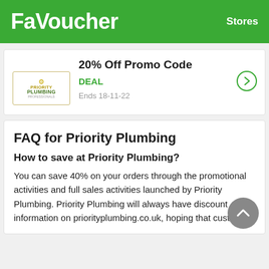FaVoucher   Stores
20% Off Promo Code
DEAL
Ends 18-11-22
FAQ for Priority Plumbing
How to save at Priority Plumbing?
You can save 40% on your orders through the promotional activities and full sales activities launched by Priority Plumbing. Priority Plumbing will always have discount information on priorityplumbing.co.uk, hoping that customers